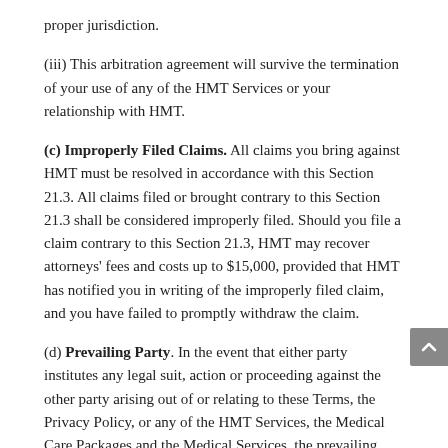proper jurisdiction.
(iii) This arbitration agreement will survive the termination of your use of any of the HMT Services or your relationship with HMT.
(c) Improperly Filed Claims. All claims you bring against HMT must be resolved in accordance with this Section 21.3. All claims filed or brought contrary to this Section 21.3 shall be considered improperly filed. Should you file a claim contrary to this Section 21.3, HMT may recover attorneys' fees and costs up to $15,000, provided that HMT has notified you in writing of the improperly filed claim, and you have failed to promptly withdraw the claim.
(d) Prevailing Party. In the event that either party institutes any legal suit, action or proceeding against the other party arising out of or relating to these Terms, the Privacy Policy, or any of the HMT Services, the Medical Care Packages and the Medical Services, the prevailing party in